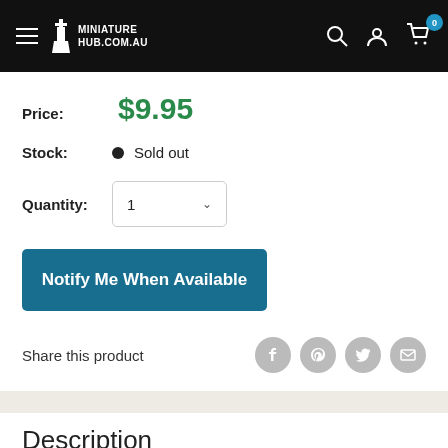MINIATURE HUB.COM.AU
Price: $9.95
Stock: Sold out
Quantity: 1
Notify Me When Available
Share this product
Description